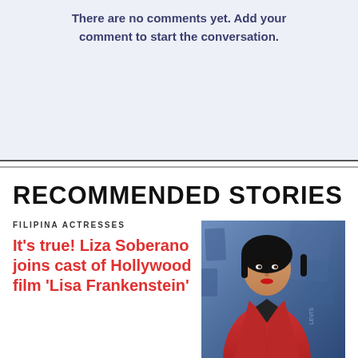There are no comments yet. Add your comment to start the conversation.
RECOMMENDED STORIES
FILIPINA ACTRESSES
It's true! Liza Soberano joins cast of Hollywood film 'Lisa Frankenstein'
[Figure (photo): Photo of Liza Soberano wearing a red jacket against a blue background]